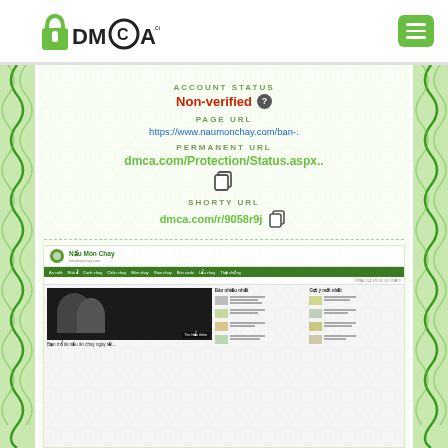[Figure (logo): DMCA.com logo with padlock icon]
[Figure (screenshot): DMCA protection certificate showing account status, page URL, permanent URL, and shorty URL for naumonchay.com]
ACCOUNT STATUS
Non-verified
PAGE URL
https://www.naumonchay.com/ban-.
PERMANENT URL
dmca.com/Protection/Status.aspx..
SHORTY URL
dmca.com/r/9058r9j